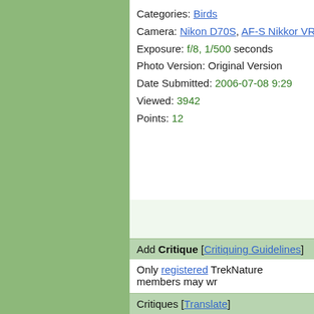[Figure (photo): Green sidebar panel on the left side of the page]
Categories: Birds
Camera: Nikon D70S, AF-S Nikkor VR 200-4
Exposure: f/8, 1/500 seconds
Photo Version: Original Version
Date Submitted: 2006-07-08 9:29
Viewed: 3942
Points: 12
Add Critique [Critiquing Guidelines]
Only registered TrekNature members may wr
Critiques [Translate]